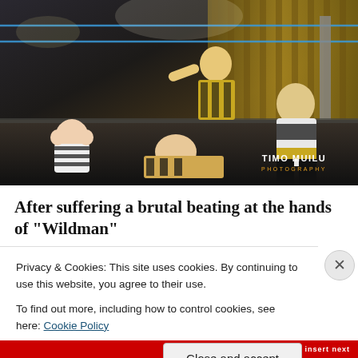[Figure (photo): Wrestling match photograph showing four wrestlers in a ring. A referee in black-and-white stripes watches as a bald wrestler grins on the mat while being held down, another wrestler in yellow/black shorts stands above, and a fourth wrestler in a black-and-white singlet and boots reacts. Watermark reads 'TIMO MUILU PHOTOGRAPHY' in bottom right corner. Photo taken indoors with stage lighting.]
After suffering a brutal beating at the hands of "Wildman"
Privacy & Cookies: This site uses cookies. By continuing to use this website, you agree to their use.
To find out more, including how to control cookies, see here: Cookie Policy
Close and accept